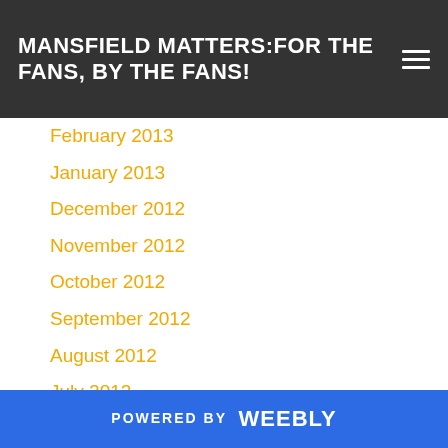MANSFIELD MATTERS:FOR THE FANS, BY THE FANS!
February 2013
January 2013
December 2012
November 2012
October 2012
September 2012
August 2012
July 2012
June 2012
May 2012
April 2012
March 2012
February 2012
January 2012
November 2011
POWERED BY weebly